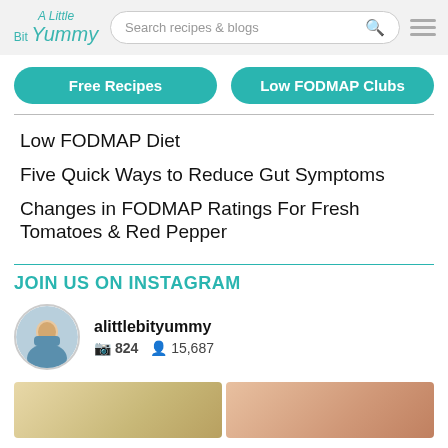A Little Bit Yummy — Search recipes & blogs
Free Recipes
Low FODMAP Clubs
Low FODMAP Diet
Five Quick Ways to Reduce Gut Symptoms
Changes in FODMAP Ratings For Fresh Tomatoes & Red Pepper
JOIN US ON INSTAGRAM
alittlebityummy
824 posts  15,687 followers
[Figure (photo): Two thumbnail images showing food/recipe photos from Instagram feed]